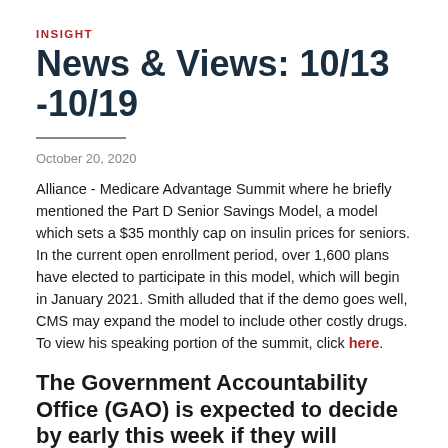INSIGHT
News & Views: 10/13 -10/19
October 20, 2020
Alliance - Medicare Advantage Summit where he briefly mentioned the Part D Senior Savings Model, a model which sets a $35 monthly cap on insulin prices for seniors. In the current open enrollment period, over 1,600 plans have elected to participate in this model, which will begin in January 2021. Smith alluded that if the demo goes well, CMS may expand the model to include other costly drugs. To view his speaking portion of the summit, click here.
The Government Accountability Office (GAO) is expected to decide by early this week if they will